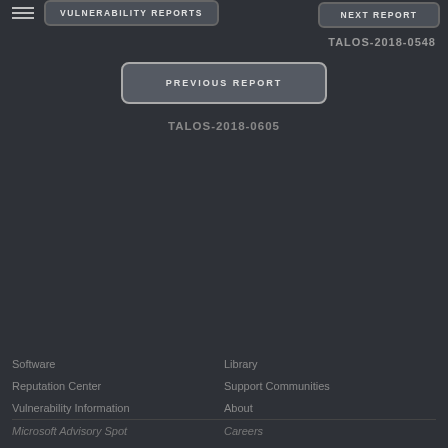[Figure (screenshot): Top navigation bar with VULNERABILITY REPORTS button on left and NEXT REPORT button on right, with hamburger menu icon]
TALOS-2018-0548
[Figure (screenshot): PREVIOUS REPORT button centered with rounded border]
TALOS-2018-0605
Software | Library | Reputation Center | Support Communities | Vulnerability Information | About | Microsoft Advisory Spot | Careers